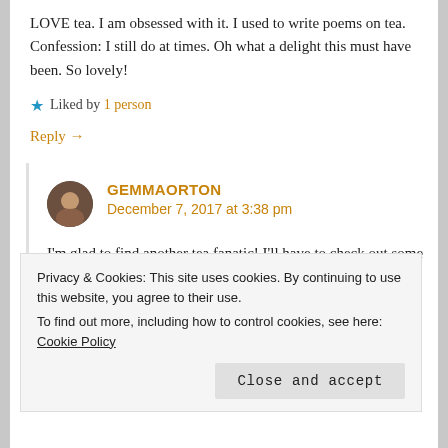LOVE tea. I am obsessed with it. I used to write poems on tea. Confession: I still do at times. Oh what a delight this must have been. So lovely!
★ Liked by 1 person
Reply →
GEMMAORTON
December 7, 2017 at 3:38 pm
I'm glad to find another tea fanatic! I'll have to check out some of your tea poems.
★ Like
Privacy & Cookies: This site uses cookies. By continuing to use this website, you agree to their use.
To find out more, including how to control cookies, see here: Cookie Policy
Close and accept